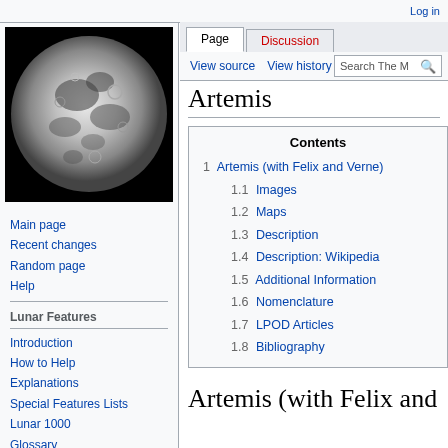Log in
Page | Discussion | View source | View history | Search The M
[Figure (photo): Full moon photograph on black background — high contrast grayscale image of the moon showing craters and surface features]
Main page
Recent changes
Random page
Help
Lunar Features
Introduction
How to Help
Explanations
Special Features Lists
Lunar 1000
Glossary
Bibliography
LPOD
Artemis
| Contents |
| --- |
| 1 Artemis (with Felix and Verne) |
| 1.1 Images |
| 1.2 Maps |
| 1.3 Description |
| 1.4 Description: Wikipedia |
| 1.5 Additional Information |
| 1.6 Nomenclature |
| 1.7 LPOD Articles |
| 1.8 Bibliography |
Artemis (with Felix and